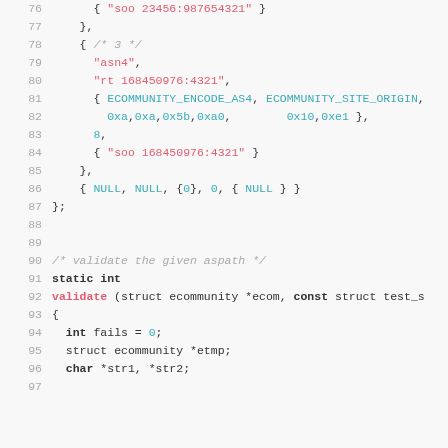[Figure (screenshot): Source code listing lines 76-97 showing C code with syntax highlighting. Contains struct initialization data with string literals, hex values, and a function definition for 'validate'.]